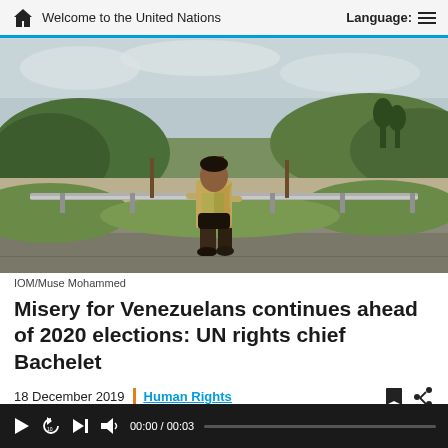Welcome to the United Nations
[Figure (photo): A person sitting on a roadside guardrail along a highway, with green rolling hills in the background under a cloudy sky.]
IOM/Muse Mohammed
Misery for Venezuelans continues ahead of 2020 elections: UN rights chief Bachelet
18 December 2019 | Human Rights